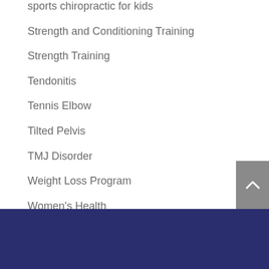sports chiropractic for kids
Strength and Conditioning Training
Strength Training
Tendonitis
Tennis Elbow
Tilted Pelvis
TMJ Disorder
Weight Loss Program
Women's Health
Youth Athletic Training